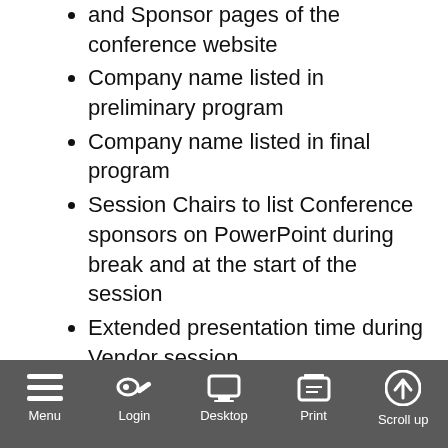and Sponsor pages of the conference website
Company name listed in preliminary program
Company name listed in final program
Session Chairs to list Conference sponsors on PowerPoint during break and at the start of the session
Extended presentation time during Vendor session
Gold Sponsor - $250 includes:
Logo and URL listed on the Main and Sponsor pages of the conference website
Company name listed in preliminary program
Company name listed in final program